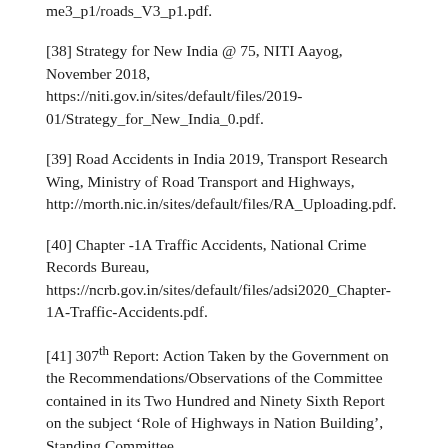me3_p1/roads_V3_p1.pdf.
[38] Strategy for New India @ 75, NITI Aayog, November 2018, https://niti.gov.in/sites/default/files/2019-01/Strategy_for_New_India_0.pdf.
[39] Road Accidents in India 2019, Transport Research Wing, Ministry of Road Transport and Highways, http://morth.nic.in/sites/default/files/RA_Uploading.pdf.
[40] Chapter -1A Traffic Accidents, National Crime Records Bureau, https://ncrb.gov.in/sites/default/files/adsi2020_Chapter-1A-Traffic-Accidents.pdf.
[41] 307th Report: Action Taken by the Government on the Recommendations/Observations of the Committee contained in its Two Hundred and Ninety Sixth Report on the subject ‘Role of Highways in Nation Building’, Standing Committee